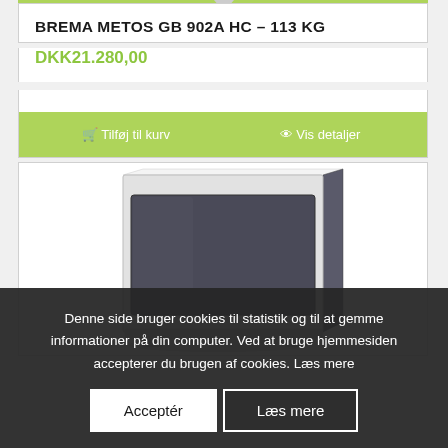BREMA METOS GB 902A HC – 113 KG
DKK21.280,00
🛒 Tilføj til kurv
👁 Vis detaljer
[Figure (photo): Ice machine / storage unit with white top and dark grey front panel, product photo on white background]
Denne side bruger cookies til statistik og til at gemme informationer på din computer. Ved at bruge hjemmesiden accepterer du brugen af cookies. Læs mere
Acceptér
Læs mere